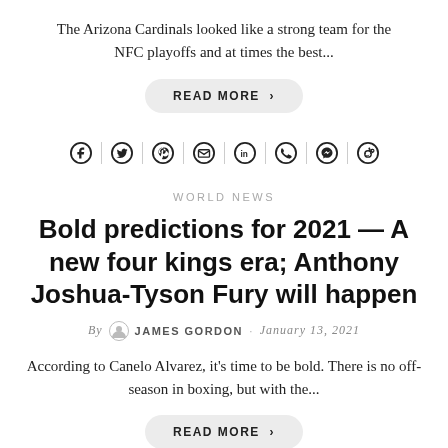The Arizona Cardinals looked like a strong team for the NFC playoffs and at times the best...
READ MORE >
[Figure (other): Social sharing icons row: Facebook, Twitter, Pinterest, Email, LinkedIn, WhatsApp, Messenger, Reddit]
WORLD NEWS
Bold predictions for 2021 — A new four kings era; Anthony Joshua-Tyson Fury will happen
By JAMES GORDON · January 13, 2021
According to Canelo Alvarez, it's time to be bold. There is no off-season in boxing, but with the...
READ MORE >